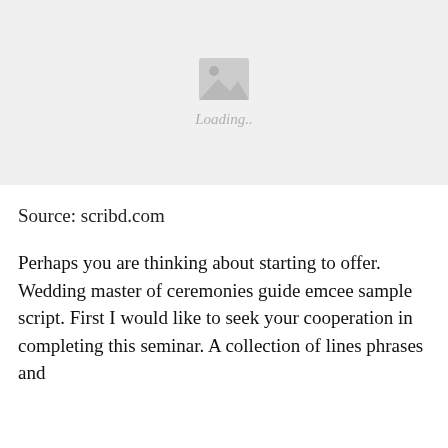[Figure (photo): Image loading placeholder with mountain/landscape icon and 'Loading..' text on light grey background]
Source: scribd.com
Perhaps you are thinking about starting to offer. Wedding master of ceremonies guide emcee sample script. First I would like to seek your cooperation in completing this seminar. A collection of lines phrases and